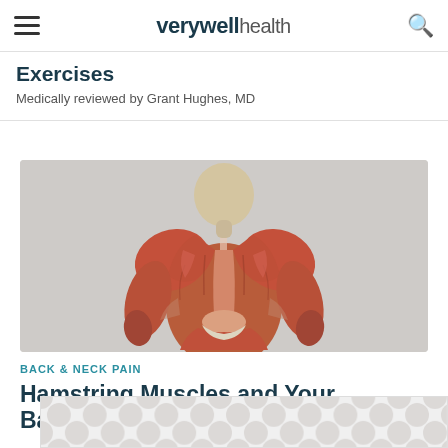verywell health
Exercises
Medically reviewed by Grant Hughes, MD
[Figure (illustration): 3D anatomical illustration of human back muscles, posterior view, showing red musculature on a light grey background]
BACK & NECK PAIN
Hamstring Muscles and Your Back P...
[Figure (other): Advertisement banner with repeating grey circular dot pattern]